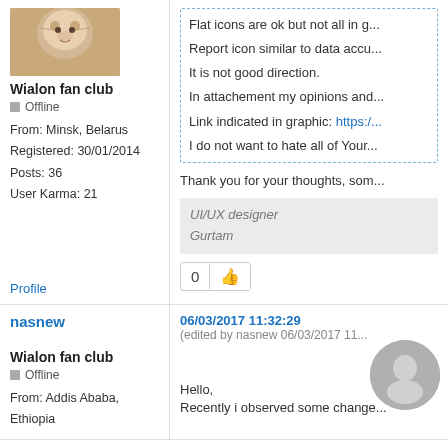[Figure (photo): Avatar image of a cat/animal, cropped at top]
Wialon fan club
Offline
From: Minsk, Belarus
Registered: 30/01/2014
Posts: 36
User Karma: 21
Flat icons are ok but not all in g...
Report icon similar to data accu...
It is not good direction.
In attachement my opinions and...
Link indicated in graphic: https:/...
I do not want to hate all of Your...
Thank you for your thoughts, som...
UI/UX designer
Gurtam
Profile
0
nasnew
Wialon fan club
Offline
From: Addis Ababa, Ethiopia
06/03/2017 11:32:29
(edited by nasnew 06/03/2017 11...
Hello,
Recently i observed some change...